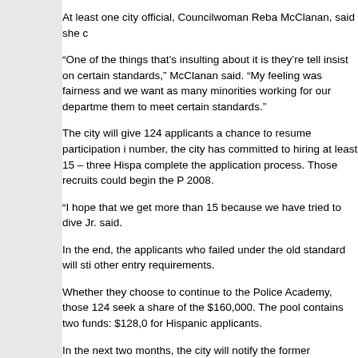At least one city official, Councilwoman Reba McClanan, said she c
“One of the things that’s insulting about it is they’re tell insist on certain standards,” McClanan said. “My feeling was fairness and we want as many minorities working for our departme them to meet certain standards.”
The city will give 124 applicants a chance to resume participation i number, the city has committed to hiring at least 15 – three Hispa complete the application process. Those recruits could begin the P 2008.
“I hope that we get more than 15 because we have tried to dive Jr. said.
In the end, the applicants who failed under the old standard will sti other entry requirements.
Whether they choose to continue to the Police Academy, those 124 seek a share of the $160,000. The pool contains two funds: $128,0 for Hispanic applicants.
In the next two months, the city will notify the former applicants abo they can tell the federal court whether they consider it fair.
The court could hold a hearing as early as July. Then the city will k chose to do.